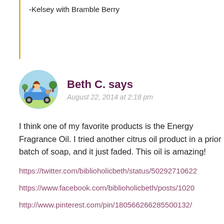-Kelsey with Bramble Berry
Beth C. says
August 22, 2014 at 2:18 pm
[Figure (illustration): Circular avatar illustration of a woman driving a blue car with a small dog, colorful cartoon style]
I think one of my favorite products is the Energy Fragrance Oil. I tried another citrus oil product in a prior batch of soap, and it just faded. This oil is amazing!
https://twitter.com/biblioholicbeth/status/50292710622
https://www.facebook.com/biblioholicbeth/posts/1020
http://www.pinterest.com/pin/180566266285500132/